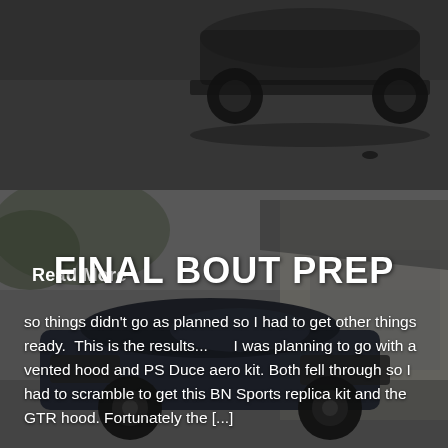[Figure (photo): Dark car partially visible at top of frame, shot from above/side angle in a parking area. Image has dark overlay tint.]
Read More
[Figure (photo): Dark modified car (appears to be a Mitsubishi Evo or similar) parked in front of a garage with white siding. Image has dark overlay tint.]
FINAL BOUT PREP
so things didn't go as planned so I had to get other things ready.  This is the results...      I was planning to go with a vented hood and PS Duce aero kit. Both fell through so I had to scramble to get this BN Sports replica kit and the GTR hood. Fortunately the [...]